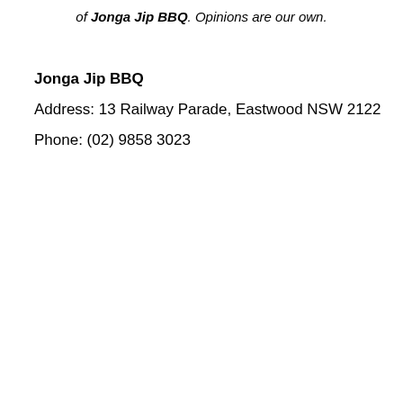of Jonga Jip BBQ. Opinions are our own.
Jonga Jip BBQ
Address: 13 Railway Parade, Eastwood NSW 2122
Phone: (02) 9858 3023